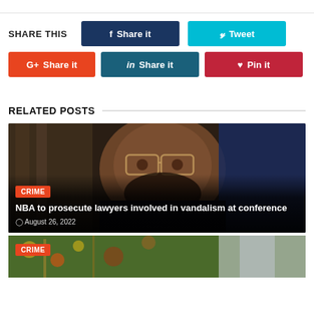SHARE THIS
[Figure (screenshot): Social share buttons: Facebook Share it (dark blue), Twitter Tweet (cyan), Google+ Share it (orange-red), LinkedIn Share it (dark teal), Pinterest Pin it (dark red)]
RELATED POSTS
[Figure (photo): Close-up photo of a man wearing large gold-framed glasses, with a beard, looking at the camera. CRIME badge overlay. Headline: NBA to prosecute lawyers involved in vandalism at conference. Date: August 26, 2022]
[Figure (photo): Partial photo with CRIME badge, colorful background fabric visible]